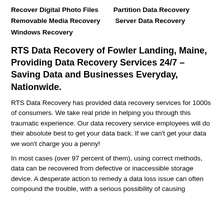Recover Digital Photo Files
Partition Data Recovery
Removable Media Recovery
Server Data Recovery
Windows Recovery
RTS Data Recovery of Fowler Landing, Maine, Providing Data Recovery Services 24/7 – Saving Data and Businesses Everyday, Nationwide.
RTS Data Recovery has provided data recovery services for 1000s of consumers. We take real pride in helping you through this traumatic experience. Our data recovery service employees will do their absolute best to get your data back. If we can't get your data we won't charge you a penny!
In most cases (over 97 percent of them), using correct methods, data can be recovered from defective or inaccessible storage device. A desperate action to remedy a data loss issue can often compound the trouble, with a serious possibility of causing